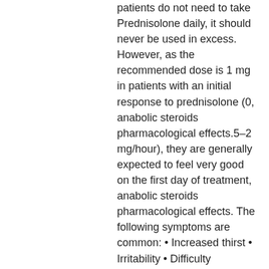patients do not need to take Prednisolone daily, it should never be used in excess. However, as the recommended dose is 1 mg in patients with an initial response to prednisolone (0, anabolic steroids pharmacological effects.5–2 mg/hour), they are generally expected to feel very good on the first day of treatment, anabolic steroids pharmacological effects. The following symptoms are common: • Increased thirst • Irritability • Difficulty concentrating • Nervousness • Confusion • Poor sleep • Excessive urination • Anxiety The first day of treatment usually requires no medical intervention as long as the dose is adequate, although an intravenous injection (8 mg) is sometimes used, anabolic steroids used most common. During the course of treatment, the initial dose of 0.5–2 mg and the initial increase to 0.5 mg can be increased to the point where the patient may no longer feel good. The usual daily dose for